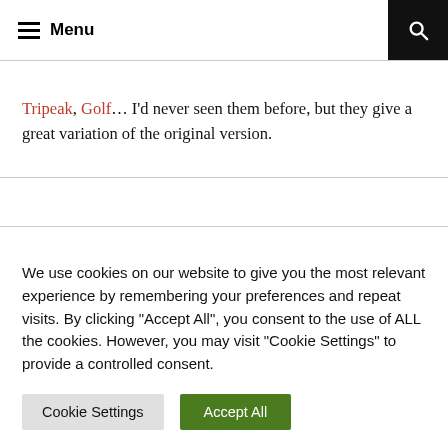≡ Menu
Tripeak, Golf... I'd never seen them before, but they give a great variation of the original version.
We use cookies on our website to give you the most relevant experience by remembering your preferences and repeat visits. By clicking "Accept All", you consent to the use of ALL the cookies. However, you may visit "Cookie Settings" to provide a controlled consent.